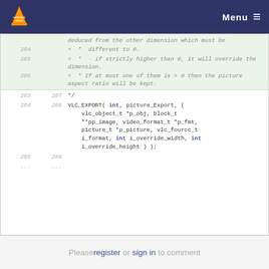Menu
deduced from the other dimension which must be
284  +  *  different to 0.
285  +  *  - if strictly higher than 0, it will override the dimension.
286  +  * If at most one of them is > 0 then the picture aspect ratio will be kept.
283  287     */
284  288  VLC_EXPORT( int, picture_Export, ( vlc_object_t *p_obj, block_t **pp_image, video_format_t *p_fmt, picture_t *p_picture, vlc_fourcc_t i_format, int i_override_width, int i_override_height ) );
285  289
...  ...
Please register or sign in to comment